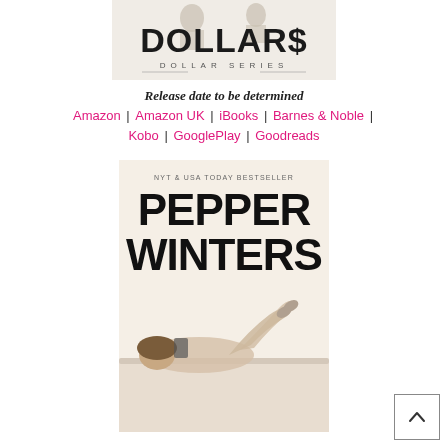[Figure (illustration): Book cover image for 'DOLLAR$' - Dollar Series with stylized text and figures]
Release date to be determined
Amazon  |  Amazon UK  |  iBooks  |  Barnes & Noble  |  Kobo  |  GooglePlay  |  Goodreads
[Figure (illustration): Book cover for Pepper Winters - NYT & USA Today Bestseller with woman lying on couch reading]